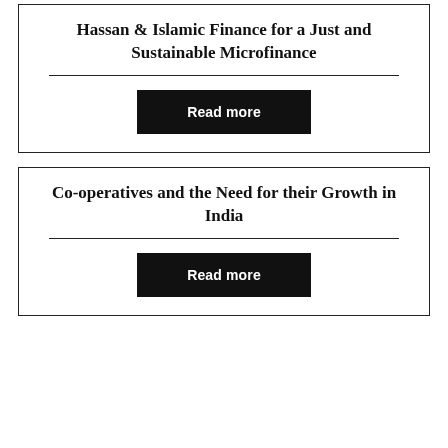Hassan & Islamic Finance for a Just and Sustainable Microfinance
Read more
Co-operatives and the Need for their Growth in India
Read more